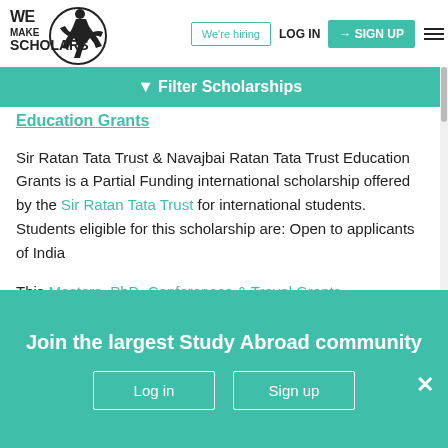[Figure (logo): We Make Scholars logo with stylized figure and circle]
We're hiring
LOG IN
SIGN UP
Filter Scholarships
Education Grants
Sir Ratan Tata Trust & Navajbai Ratan Tata Trust Education Grants is a Partial Funding international scholarship offered by the Sir Ratan Tata Trust for international students. Students eligible for this scholarship are: Open to applicants of India
This Masters, PhD, Conferences & Travel Grants scholarship can be taken for pursuing in Any field of
Join the largest Study Abroad community
Log in
Sign up